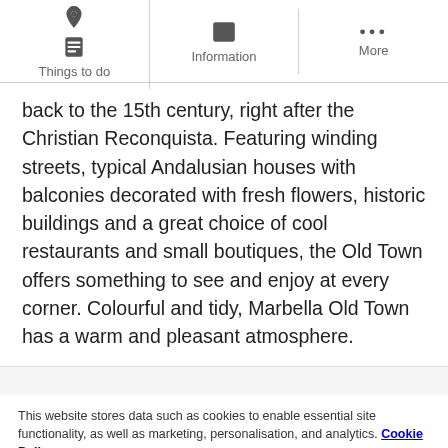Things to do | Information | More
back to the 15th century, right after the Christian Reconquista. Featuring winding streets, typical Andalusian houses with balconies decorated with fresh flowers, historic buildings and a great choice of cool restaurants and small boutiques, the Old Town offers something to see and enjoy at every corner. Colourful and tidy, Marbella Old Town has a warm and pleasant atmosphere.
This website stores data such as cookies to enable essential site functionality, as well as marketing, personalisation, and analytics. Cookie Policy
ACCEPT